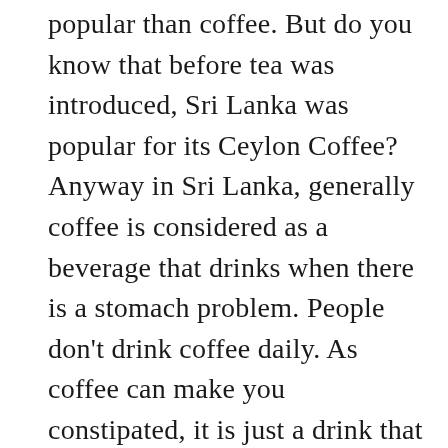popular than coffee. But do you know that before tea was introduced, Sri Lanka was popular for its Ceylon Coffee? Anyway in Sri Lanka, generally coffee is considered as a beverage that drinks when there is a stomach problem. People don't drink coffee daily. As coffee can make you constipated, it is just a drink that is served rarely or when someone is with bad stomach. Sounds funny right? 😊